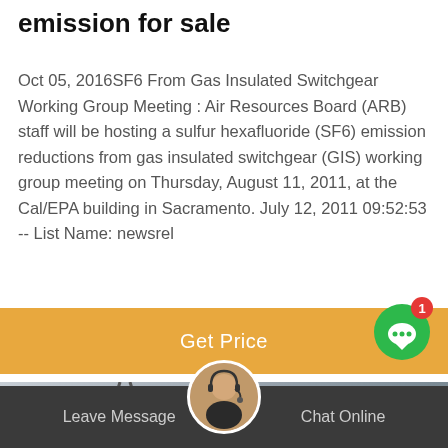emission for sale
Oct 05, 2016SF6 From Gas Insulated Switchgear Working Group Meeting : Air Resources Board (ARB) staff will be hosting a sulfur hexafluoride (SF6) emission reductions from gas insulated switchgear (GIS) working group meeting on Thursday, August 11, 2011, at the Cal/EPA building in Sacramento. July 12, 2011 09:52:53 -- List Name: newsrel
[Figure (other): Orange 'Get Price' button bar with a green chat bubble icon showing notification badge '1']
[Figure (photo): Photograph of electrical power transmission towers and cables against a grey sky]
Leave Message   Chat Online